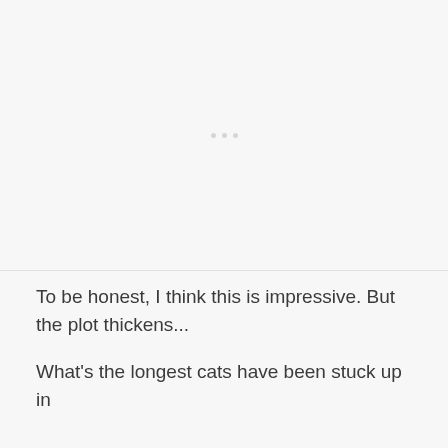[Figure (other): Blank/placeholder image area with three faint dots in the center]
To be honest, I think this is impressive. But the plot thickens...
What's the longest cats have been stuck up in